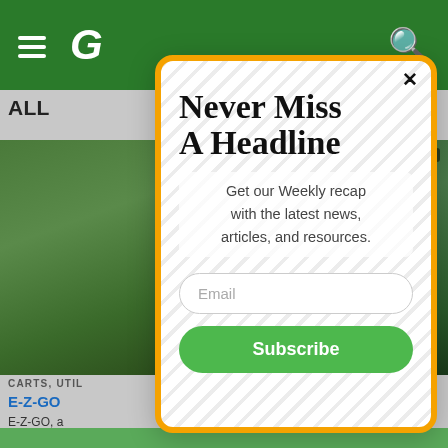G
ALL ... EN"
[Figure (screenshot): Background news article page with green header, photo strip showing vehicles/trees, article text about E-Z-GO, category label CARTS, UTIL...]
CARTS, UTIL...
E-Z-GO
E-Z-GO, a... kes its new vehic... le to offer four forw...
Never Miss A Headline
Get our Weekly recap with the latest news, articles, and resources.
Email
Subscribe